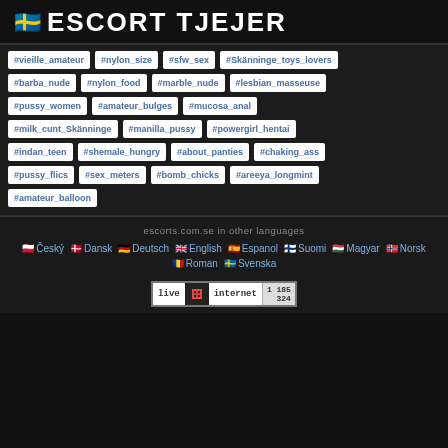🇸🇪 ESCORT TJEJER
#vieille_amateur
#nylon_size
#sfw_sex
#Skänninge_toys_lovers
#barba_nude
#nylon_food
#marble_nude
#lesbian_masseuse
#pussy_women
#amateur_bulges
#mucosa_anal
#milk_cunt_Skänninge
#manilla_pussy
#powergirl_hentai
#indan_teen
#shemale_hungry
#about_panties
#chaking_ass
#pussy_flics
#sex_meters
#bomb_chicks
#areeya_longmint
#amateur_balloon
escorts.com.se in other languages
Český  Dansk  Deutsch  English  Espanol  Suomi  Magyar  Norsk  Roman  Svenska
[Figure (logo): LiveInternet counter badge showing 1185 and 324]